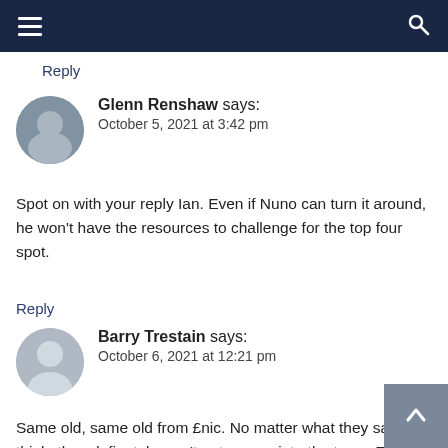Navigation bar with hamburger menu and search icon
Reply
Glenn Renshaw says: October 5, 2021 at 3:42 pm
Spot on with your reply Ian. Even if Nuno can turn it around, he won't have the resources to challenge for the top four spot.
Reply
Barry Trestain says: October 6, 2021 at 12:21 pm
Same old, same old from £nic. No matter what they say or think, they definately won't put money into the team. They blind us with their Stadium and hope that is enough to to get the supporters onside. For some it will but for many supporters £nic are just taking and